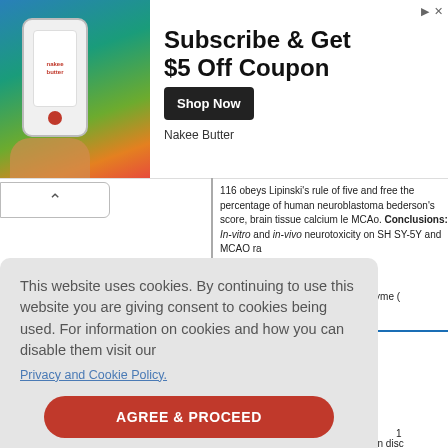[Figure (screenshot): Advertisement banner: Nakee Butter product image on left (phone with app/product), text 'Subscribe & Get $5 Off Coupon' with 'Shop Now' button and 'Nakee Butter' brand name on right]
116 obeys Lipinski's rule of five and free the percentage of human neuroblastoma bederson's score, brain tissue calcium le MCAo. Conclusions: In-vitro and in-vivo neurotoxicity on SH SY-5Y and MCAO ra
Keywords: Cyclooxygenase-2 enzyme (
l, A Trpv
Marwaha
ity Institu
1
Objective: TRP channels have been disc
This website uses cookies. By continuing to use this website you are giving consent to cookies being used. For information on cookies and how you can disable them visit our Privacy and Cookie Policy.
AGREE & PROCEED